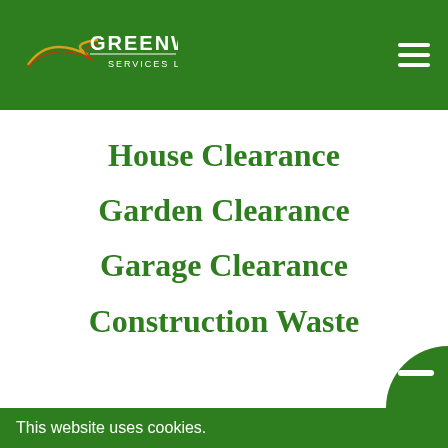GREENWAY SERVICES LTD
House Clearance
Garden Clearance
Garage Clearance
Construction Waste
This website uses cookies.